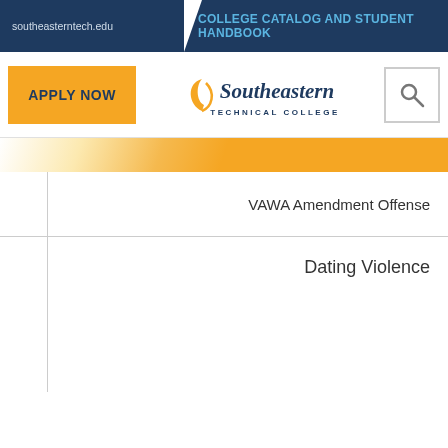southeasterntech.edu | COLLEGE CATALOG AND STUDENT HANDBOOK
[Figure (logo): Southeastern Technical College logo with arc graphic]
APPLY NOW
|  | VAWA Amendment Offense |
| --- | --- |
|  | Dating Violence |
VAWA Amendment Offense
Dating Violence